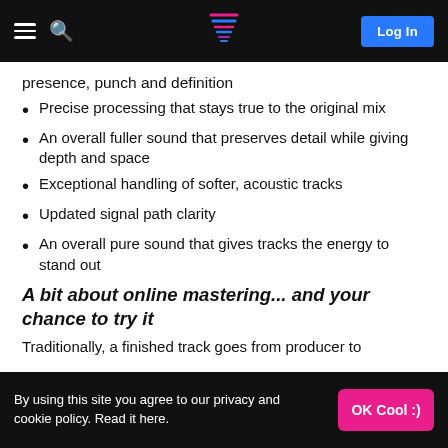Log In
presence, punch and definition
Precise processing that stays true to the original mix
An overall fuller sound that preserves detail while giving depth and space
Exceptional handling of softer, acoustic tracks
Updated signal path clarity
An overall pure sound that gives tracks the energy to stand out
A bit about online mastering... and your chance to try it
Traditionally, a finished track goes from producer to
By using this site you agree to our privacy and cookie policy. Read it here.